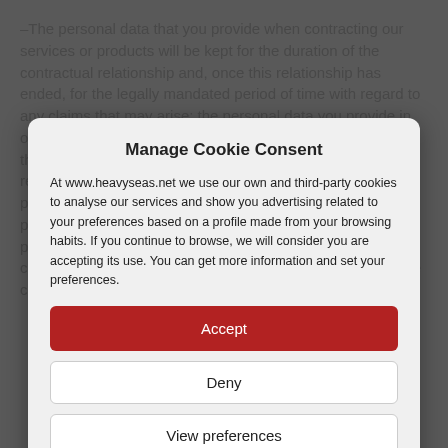–The personal data that you provide when contracting our services or products will be kept for the duration of the contractual relationship and, once this relationship has ended, for the legally mandated period of time with regard to any claims that may arise; the personal data you provide in order for us to manage contacts or information queries through the contact form will be kept as long as you do not request for said data to be erased or cancelled; your personal data will be kept for as long as it is useful for the purposes indicated and, in any case, for legally mandated periods and to cover any possible liabilities arising from the commission of any acts or possible liabilities arising from the commission of any
Manage Cookie Consent
At www.heavyseas.net we use our own and third-party cookies to analyse our services and show you advertising related to your preferences based on a profile made from your browsing habits. If you continue to browse, we will consider you are accepting its use. You can get more information and set your preferences.
Accept
Deny
View preferences
Cookies Policy   Privacy Policy   Legal Notice